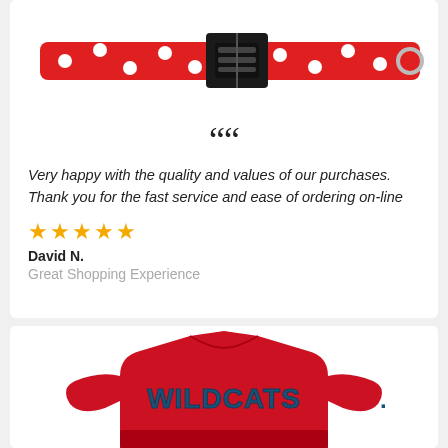[Figure (photo): Red polka-dot dog collar with black buckle clasp, shown from above on white background]
““ Very happy with the quality and values of our purchases. Thank you for the fast service and ease of ordering on-line
★★★★★ David N. Great Shopping Experience
[Figure (photo): Red Wildcats pet jersey/shirt showing the back with WILDCATS text in dark teal lettering]